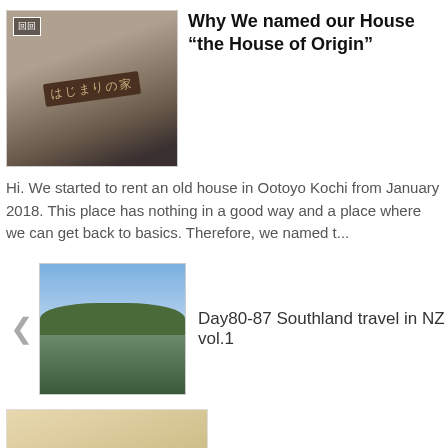[Figure (photo): Photo of a Japanese wooden sign with kanji characters, placed on tatami mat flooring]
Why We named our House “the House of Origin”
Hi. We started to rent an old house in Ootoyo Kochi from January 2018. This place has nothing in a good way and a place where we can get back to basics. Therefore, we named t...
[Figure (photo): Outdoor photo of a crowd of people on a grassy field with hills and blue sky in the background]
Day80-87 Southland travel in NZ vol.1
[Figure (photo): Partial image of another article, bottom of page, with 'Whole image' label]